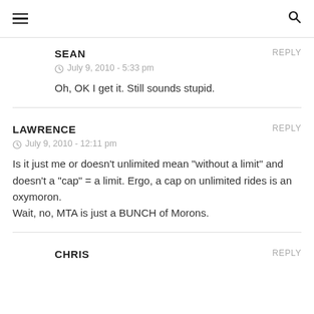≡  🔍
SEAN
July 9, 2010 - 5:33 pm
REPLY
Oh, OK I get it. Still sounds stupid.
LAWRENCE
July 9, 2010 - 12:11 pm
REPLY
Is it just me or doesn't unlimited mean "without a limit" and doesn't a "cap" = a limit. Ergo, a cap on unlimited rides is an oxymoron.
Wait, no, MTA is just a BUNCH of Morons.
CHRIS
REPLY